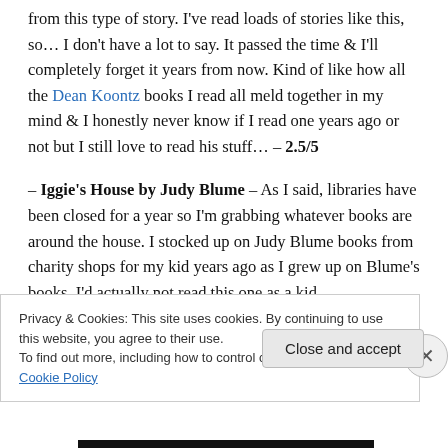from this type of story. I've read loads of stories like this, so… I don't have a lot to say. It passed the time & I'll completely forget it years from now. Kind of like how all the Dean Koontz books I read all meld together in my mind & I honestly never know if I read one years ago or not but I still love to read his stuff… – 2.5/5
– Iggie's House by Judy Blume – As I said, libraries have been closed for a year so I'm grabbing whatever books are around the house. I stocked up on Judy Blume books from charity shops for my kid years ago as I grew up on Blume's books. I'd actually not read this one as a kid
Privacy & Cookies: This site uses cookies. By continuing to use this website, you agree to their use.
To find out more, including how to control cookies, see here: Cookie Policy
Close and accept